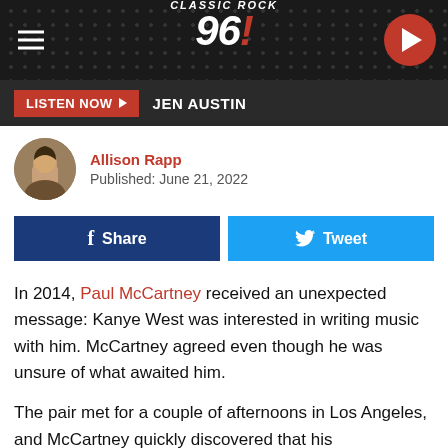[Figure (logo): Classic Rock 96.1 radio station logo on dark textured header bar with hamburger menu and play button]
LISTEN NOW  JEN AUSTIN
Allison Rapp
Published: June 21, 2022
Share   Tweet
In 2014, Paul McCartney received an unexpected message: Kanye West was interested in writing music with him. McCartney agreed even though he was unsure of what awaited him.

The pair met for a couple of afternoons in Los Angeles, and McCartney quickly discovered that his interpretation of a writing session differed from West's. They spent most of the time talking.